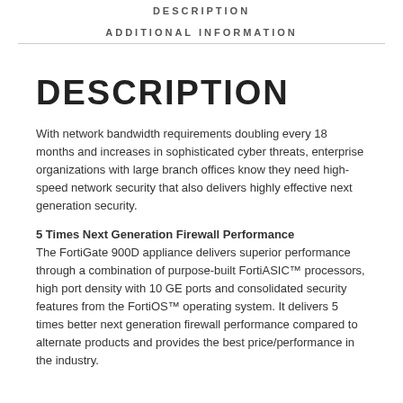DESCRIPTION
ADDITIONAL INFORMATION
DESCRIPTION
With network bandwidth requirements doubling every 18 months and increases in sophisticated cyber threats, enterprise organizations with large branch offices know they need high-speed network security that also delivers highly effective next generation security.
5 Times Next Generation Firewall Performance
The FortiGate 900D appliance delivers superior performance through a combination of purpose-built FortiASIC™ processors, high port density with 10 GE ports and consolidated security features from the FortiOS™ operating system. It delivers 5 times better next generation firewall performance compared to alternate products and provides the best price/performance in the industry.